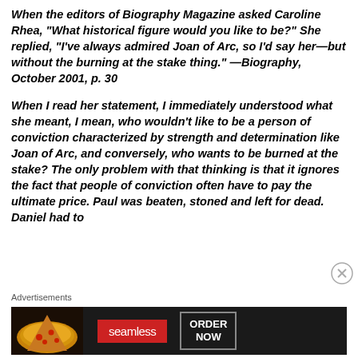When the editors of Biography Magazine asked Caroline Rhea, "What historical figure would you like to be?" She replied, "I've always admired Joan of Arc, so I'd say her—but without the burning at the stake thing." —Biography, October 2001, p. 30
When I read her statement, I immediately understood what she meant, I mean, who wouldn't like to be a person of conviction characterized by strength and determination like Joan of Arc, and conversely, who wants to be burned at the stake? The only problem with that thinking is that it ignores the fact that people of conviction often have to pay the ultimate price. Paul was beaten, stoned and left for dead. Daniel had to
Advertisements
[Figure (infographic): Seamless food delivery advertisement showing pizza image on left, red Seamless logo in center, and ORDER NOW button on right against dark background]